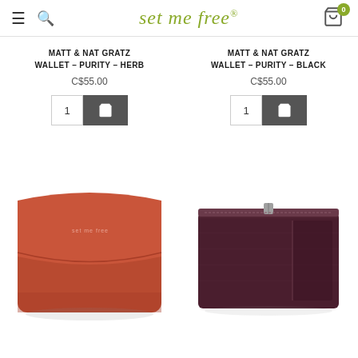set me free® — navigation header with hamburger menu, search icon, logo, and cart (0)
MATT & NAT GRATZ WALLET – PURITY – HERB
C$55.00
MATT & NAT GRATZ WALLET – PURITY – BLACK
C$55.00
[Figure (photo): Red/rust colored Matt & Nat Gratz wallet, trifold style, closed, with small logo text on front flap]
[Figure (photo): Dark burgundy/plum Matt & Nat Gratz wallet, slim zip style, closed, with zipper along top edge]